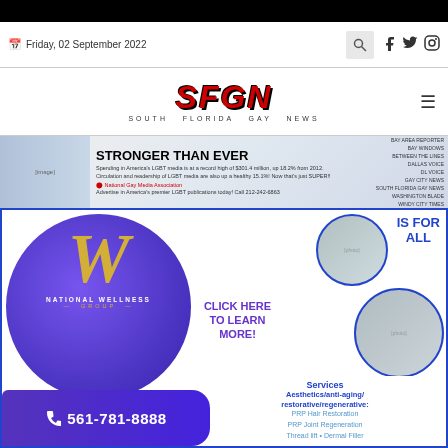Friday, 02 September 2022
[Figure (logo): SFGN South Florida Gay News logo]
[Figure (infographic): National Gay Media Association ad: STRONGER THAN EVER - advertising banner]
[Figure (infographic): National Wellness Group advertisement with logo, photos, CLICK HERE TO LEARN MORE, phone 561-781-8888, Services Aesthetics/anti-aging/restorative/regenerative: PRP Hair Restoration, PRP Joint Regeneration, Thread lift, Dermal Filler]